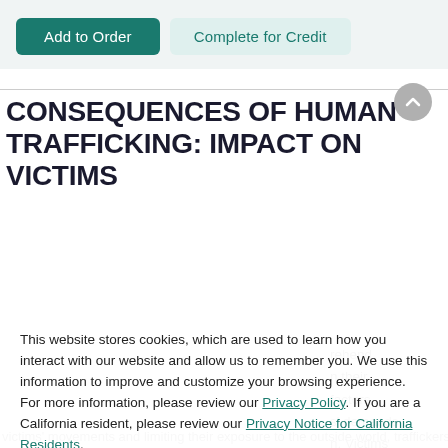[Figure (screenshot): Two buttons: 'Add to Order' (teal filled) and 'Complete for Credit' (light teal outline style)]
CONSEQUENCES OF HUMAN TRAFFICKING: IMPACT ON VICTIMS
This website stores cookies, which are used to learn how you interact with our website and allow us to remember you. We use this information to improve and customize your browsing experience. For more information, please review our Privacy Policy. If you are a California resident, please review our Privacy Notice for California Residents.
Accept
victims' movements and limiting their exposure to the outside world, traffickers